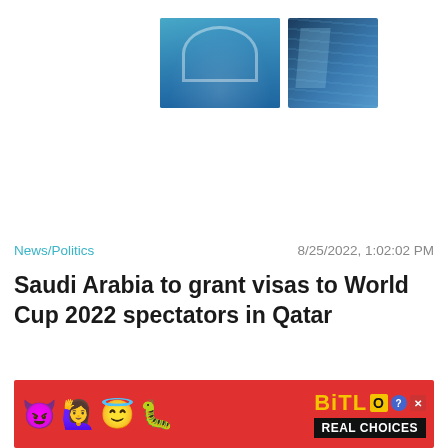[Figure (photo): Two photos side by side: left shows a curved teal/blue building facade, right shows a blue glass skyscraper close-up]
News/Politics
8/25/2022, 1:02:02 PM
Saudi Arabia to grant visas to World Cup 2022 spectators in Qatar
[Figure (screenshot): BitLife Real Choices advertisement banner with colorful emojis on red background]